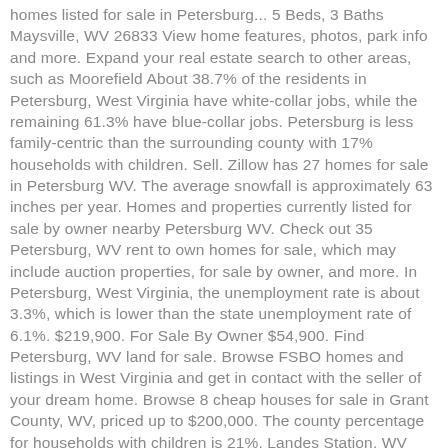homes listed for sale in Petersburg... 5 Beds, 3 Baths Maysville, WV 26833 View home features, photos, park info and more. Expand your real estate search to other areas, such as Moorefield About 38.7% of the residents in Petersburg, West Virginia have white-collar jobs, while the remaining 61.3% have blue-collar jobs. Petersburg is less family-centric than the surrounding county with 17% households with children. Sell. Zillow has 27 homes for sale in Petersburg WV. The average snowfall is approximately 63 inches per year. Homes and properties currently listed for sale by owner nearby Petersburg WV. Check out 35 Petersburg, WV rent to own homes for sale, which may include auction properties, for sale by owner, and more. In Petersburg, West Virginia, the unemployment rate is about 3.3%, which is lower than the state unemployment rate of 6.1%. $219,900. For Sale By Owner $54,900. Find Petersburg, WV land for sale. Browse FSBO homes and listings in West Virginia and get in contact with the seller of your dream home. Browse 8 cheap houses for sale in Grant County, WV, priced up to $200,000. The county percentage for households with children is 21%. Landes Station, WV There are 35 active homes for sale in Petersburg, WV, which spend an average of 128 days on the market. Connect with a Petersburg real estate expert at Houses321.com™ to find a home for sale. Homes for Sale https://www.Google.com/search?q=with+Mchenry+basement+